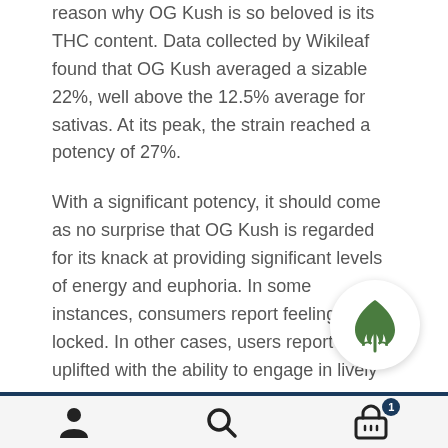reason why OG Kush is so beloved is its THC content. Data collected by Wikileaf found that OG Kush averaged a sizable 22%, well above the 12.5% average for sativas. At its peak, the strain reached a potency of 27%.
With a significant potency, it should come as no surprise that OG Kush is regarded for its knack at providing significant levels of energy and euphoria. In some instances, consumers report feeling couch locked. In other cases, users report feeling uplifted with the ability to engage in lively conversations and enhance their experiences around everything from exercise to playing video games.
For years, OG Kush has developed a reputation as one of
[Figure (logo): Circular white logo with a green cannabis leaf icon]